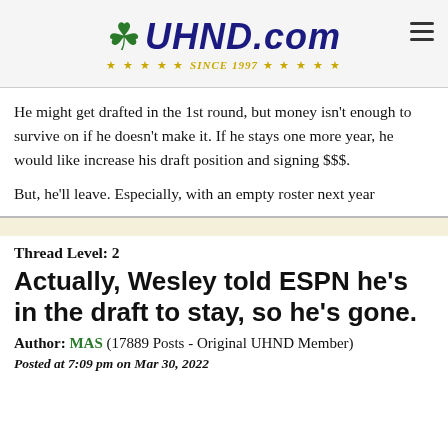UHND.com SINCE 1997
He might get drafted in the 1st round, but money isn't enough to survive on if he doesn't make it. If he stays one more year, he would like increase his draft position and signing $$$.
But, he'll leave. Especially, with an empty roster next year
Thread Level: 2
Actually, Wesley told ESPN he's in the draft to stay, so he's gone.
Author: MAS (17889 Posts - Original UHND Member)
Posted at 7:09 pm on Mar 30, 2022